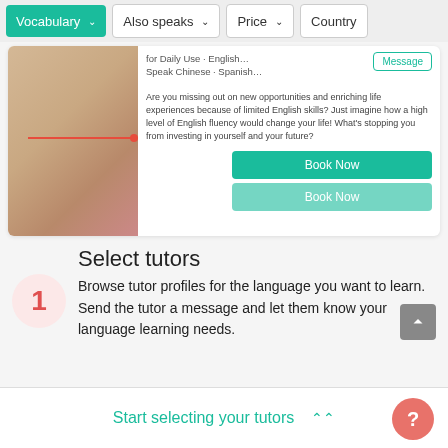[Figure (screenshot): Filter bar with Vocabulary, Also speaks, Price, Country dropdown buttons]
[Figure (screenshot): Tutor card with photo, message button, description text, and Book Now buttons]
Select tutors
Browse tutor profiles for the language you want to learn. Send the tutor a message and let them know your language learning needs.
Start selecting your tutors
[Figure (other): Help button (?) in coral circle at bottom right]